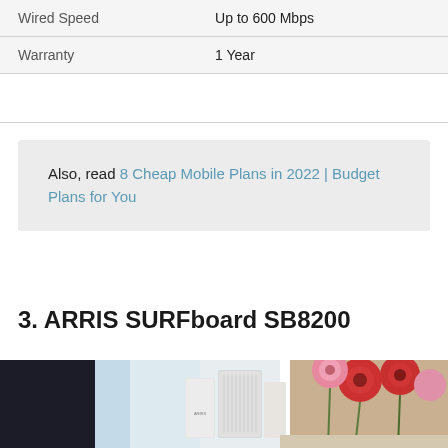| Wired Speed | Up to 600 Mbps |
| Warranty | 1 Year |
Also, read 8 Cheap Mobile Plans in 2022 | Budget Plans for You
3. ARRIS SURFboard SB8200
[Figure (photo): ARRIS SURFboard SB8200 modem device on a table with red and pink flowers in the background, bright window light]